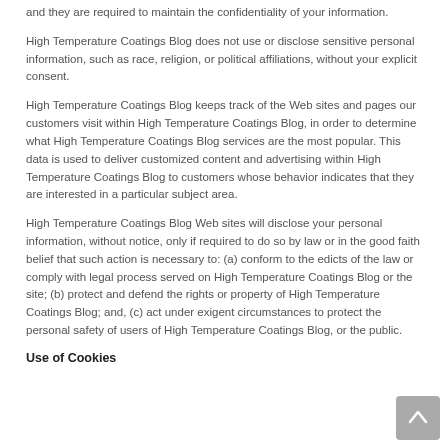and they are required to maintain the confidentiality of your information.
High Temperature Coatings Blog does not use or disclose sensitive personal information, such as race, religion, or political affiliations, without your explicit consent.
High Temperature Coatings Blog keeps track of the Web sites and pages our customers visit within High Temperature Coatings Blog, in order to determine what High Temperature Coatings Blog services are the most popular. This data is used to deliver customized content and advertising within High Temperature Coatings Blog to customers whose behavior indicates that they are interested in a particular subject area.
High Temperature Coatings Blog Web sites will disclose your personal information, without notice, only if required to do so by law or in the good faith belief that such action is necessary to: (a) conform to the edicts of the law or comply with legal process served on High Temperature Coatings Blog or the site; (b) protect and defend the rights or property of High Temperature Coatings Blog; and, (c) act under exigent circumstances to protect the personal safety of users of High Temperature Coatings Blog, or the public.
Use of Cookies